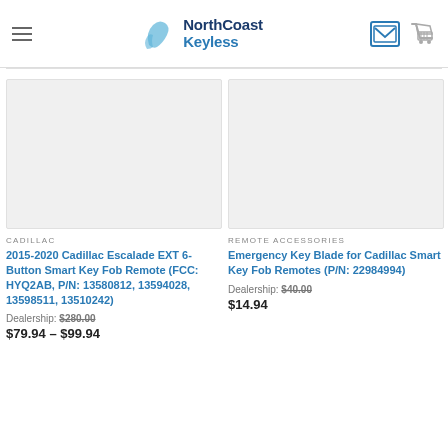NorthCoast Keyless
13510242)
Dealership: $280.00
$79.94 – $99.94
13510242)
Dealership: $280.00
$79.94 – $99.94
[Figure (photo): Product image placeholder for Cadillac Escalade EXT Smart Key Fob Remote]
CADILLAC
2015-2020 Cadillac Escalade EXT 6-Button Smart Key Fob Remote (FCC: HYQ2AB, P/N: 13580812, 13594028, 13598511, 13510242)
Dealership: $280.00
$79.94 – $99.94
[Figure (photo): Product image placeholder for Emergency Key Blade for Cadillac Smart Key Fob Remotes]
REMOTE ACCESSORIES
Emergency Key Blade for Cadillac Smart Key Fob Remotes (P/N: 22984994)
Dealership: $40.00
$14.94